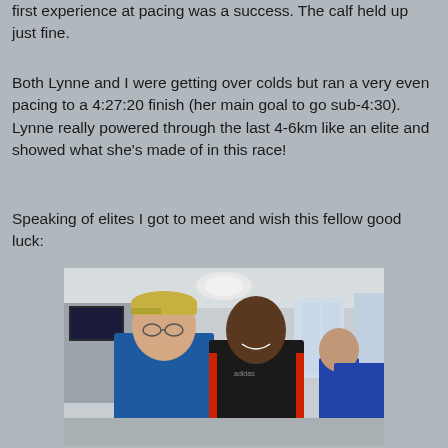first experience at pacing was a success. The calf held up just fine.
Both Lynne and I were getting over colds but ran a very even pacing to a 4:27:20 finish (her main goal to go sub-4:30). Lynne really powered through the last 4-6km like an elite and showed what she's made of in this race!
Speaking of elites I got to meet and wish this fellow good luck:
[Figure (photo): Two men posing together indoors, one wearing a blue t-shirt and a cap, the other wearing a black and red Adidas jacket. There are other people in the background in what appears to be an indoor venue with windows and ceiling lights.]